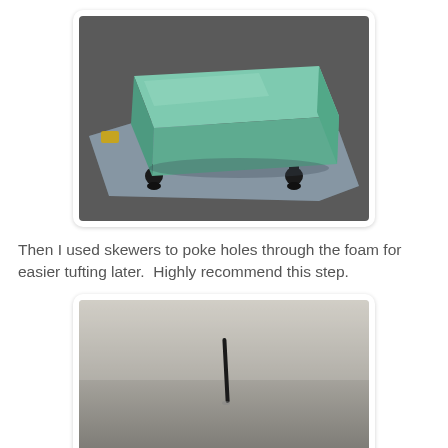[Figure (photo): A rectangular green foam block sitting on dark legs on a plastic sheet on pavement, spray painted green]
Then I used skewers to poke holes through the foam for easier tufting later.  Highly recommend this step.
[Figure (photo): Close-up view of a light grey foam block with a single dark skewer poking through it from above]